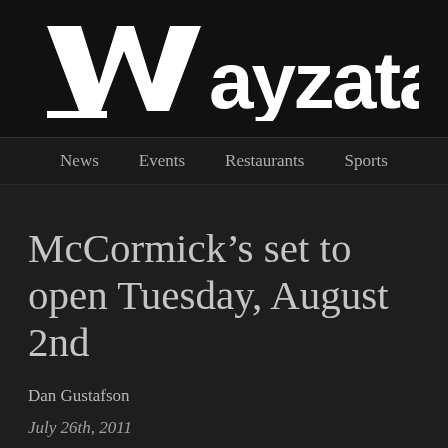Wayzata.com
News   Events   Restaurants   Sports
McCormick’s set to open Tuesday, August 2nd
Dan Gustafson
July 26th, 2011